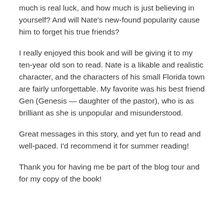much is real luck, and how much is just believing in yourself? And will Nate's new-found popularity cause him to forget his true friends?
I really enjoyed this book and will be giving it to my ten-year old son to read. Nate is a likable and realistic character, and the characters of his small Florida town are fairly unforgettable. My favorite was his best friend Gen (Genesis — daughter of the pastor), who is as brilliant as she is unpopular and misunderstood.
Great messages in this story, and yet fun to read and well-paced. I'd recommend it for summer reading!
Thank you for having me be part of the blog tour and for my copy of the book!